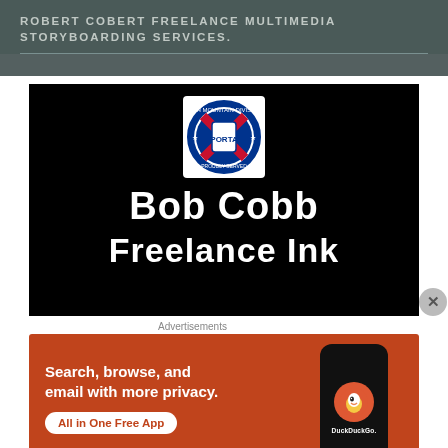ROBERT COBERT FREELANCE MULTIMEDIA STORYBOARDING SERVICES.
[Figure (logo): Black banner with 10th Mountain Division badge at top, white bold text 'Bob Cobb' and 'Freelance Ink' below on black background]
Advertisements
[Figure (screenshot): DuckDuckGo advertisement on orange background: 'Search, browse, and email with more privacy. All in One Free App' with phone mockup showing DuckDuckGo logo]